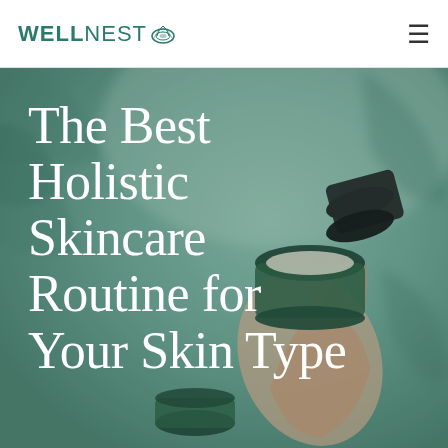WELLNEST
[Figure (photo): A hand holding green glass skincare jar and bottle against a muted green botanical background with soft focus leaves]
The Best Holistic Skincare Routine for Your Skin Type